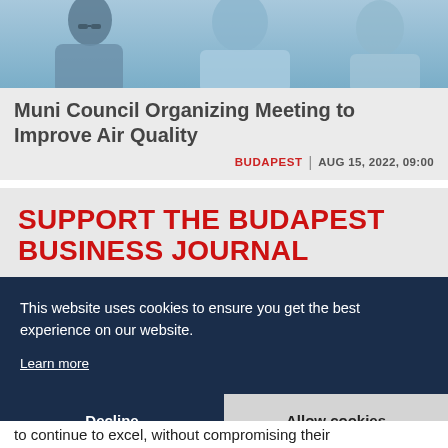[Figure (photo): Photo of people, partially visible, blue/grey tones, appears to be outdoors]
Muni Council Organizing Meeting to Improve Air Quality
BUDAPEST | AUG 15, 2022, 09:00
SUPPORT THE BUDAPEST BUSINESS JOURNAL
This website uses cookies to ensure you get the best experience on our website.
Learn more
Decline
Allow cookies
to continue to excel, without compromising their